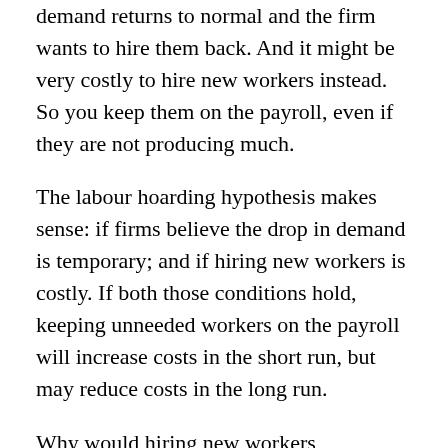demand returns to normal and the firm wants to hire them back. And it might be very costly to hire new workers instead. So you keep them on the payroll, even if they are not producing much.
The labour hoarding hypothesis makes sense: if firms believe the drop in demand is temporary; and if hiring new workers is costly. If both those conditions hold, keeping unneeded workers on the payroll will increase costs in the short run, but may reduce costs in the long run.
Why would hiring new workers